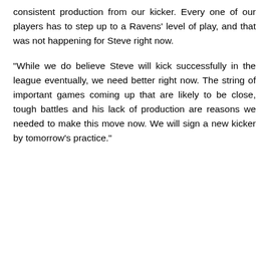consistent production from our kicker. Every one of our players has to step up to a Ravens' level of play, and that was not happening for Steve right now.
"While we do believe Steve will kick successfully in the league eventually, we need better right now. The string of important games coming up that are likely to be close, tough battles and his lack of production are reasons we needed to make this move now. We will sign a new kicker by tomorrow's practice."